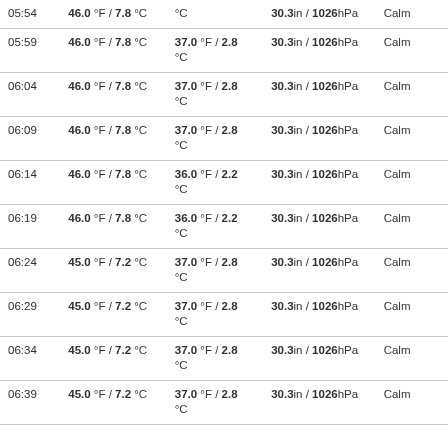| Time | Temp | Dew Point | Pressure | Wind |
| --- | --- | --- | --- | --- |
| 05:54 | 46.0 °F / 7.8 °C | °C | 30.3in / 1026hPa | Calm |
| 05:59 | 46.0 °F / 7.8 °C | 37.0 °F / 2.8 °C | 30.3in / 1026hPa | Calm |
| 06:04 | 46.0 °F / 7.8 °C | 37.0 °F / 2.8 °C | 30.3in / 1026hPa | Calm |
| 06:09 | 46.0 °F / 7.8 °C | 37.0 °F / 2.8 °C | 30.3in / 1026hPa | Calm |
| 06:14 | 46.0 °F / 7.8 °C | 36.0 °F / 2.2 °C | 30.3in / 1026hPa | Calm |
| 06:19 | 46.0 °F / 7.8 °C | 36.0 °F / 2.2 °C | 30.3in / 1026hPa | Calm |
| 06:24 | 45.0 °F / 7.2 °C | 37.0 °F / 2.8 °C | 30.3in / 1026hPa | Calm |
| 06:29 | 45.0 °F / 7.2 °C | 37.0 °F / 2.8 °C | 30.3in / 1026hPa | Calm |
| 06:34 | 45.0 °F / 7.2 °C | 37.0 °F / 2.8 °C | 30.3in / 1026hPa | Calm |
| 06:39 | 45.0 °F / 7.2 °C | 37.0 °F / 2.8 °C | 30.3in / 1026hPa | Calm |